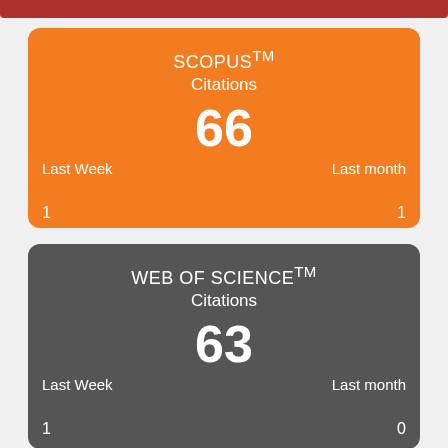[Figure (infographic): SCOPUS Citations card (orange background). Shows 66 total citations. Last Week: 1, Last month: 1. Citations as of Aug 25, 2022.]
[Figure (infographic): WEB OF SCIENCE Citations card (dark gray background). Shows 63 total citations. Last Week: 1, Last month: 0. Citations as of Aug 25, 2022.]
[Figure (infographic): Google Scholar card (blue background) partially visible at bottom. Shows Google Scholar logo and 'Check' text.]